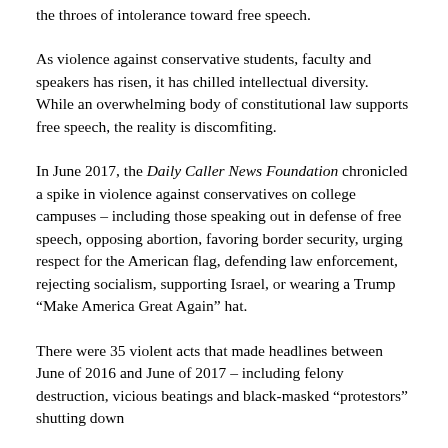the throes of intolerance toward free speech.
As violence against conservative students, faculty and speakers has risen, it has chilled intellectual diversity.  While an overwhelming body of constitutional law supports free speech, the reality is discomfiting.
In June 2017, the Daily Caller News Foundation chronicled a spike in violence against conservatives on college campuses – including those speaking out in defense of free speech, opposing abortion, favoring border security, urging respect for the American flag, defending law enforcement, rejecting socialism, supporting Israel, or wearing a Trump “Make America Great Again” hat.
There were 35 violent acts that made headlines between June of 2016 and June of 2017 – including felony destruction, vicious beatings and black-masked “protestors” shutting down